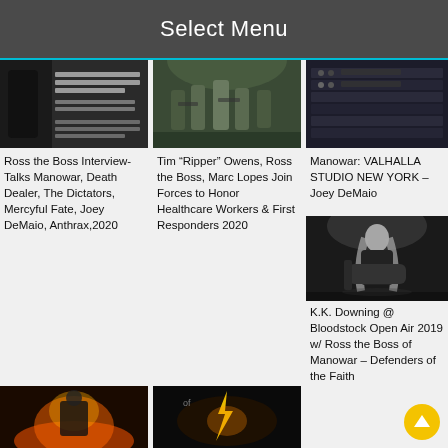Select Menu
[Figure (photo): Screenshot thumbnail with text about SEASON II preview excerpts and fullnbloom.com]
Ross the Boss Interview-Talks Manowar, Death Dealer, The Dictators, Mercyful Fate, Joey DeMaio, Anthrax,2020
[Figure (photo): Band performing on stage with multiple guitarists and vocalist]
Tim “Ripper” Owens, Ross the Boss, Marc Lopes Join Forces to Honor Healthcare Workers & First Responders 2020
[Figure (photo): Audio mixing board / recording studio equipment]
Manowar: VALHALLA STUDIO NEW YORK – Joey DeMaio
[Figure (photo): Black and white photo of K.K. Downing playing guitar on stage]
K.K. Downing @ Bloodstock Open Air 2019 w/ Ross the Boss of Manowar – Defenders of the Faith
[Figure (photo): Bottom left thumbnail - metal artwork with fire imagery]
[Figure (photo): Bottom middle thumbnail - metal artwork with lightning imagery]